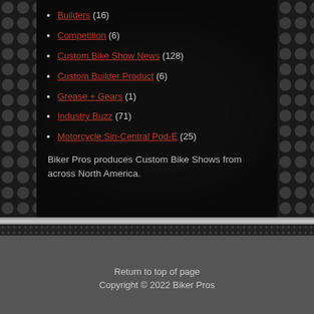Builders (16)
Competition (6)
Custom Bike Show News (128)
Custom Builder Product (6)
Grease + Gears (1)
Industry Buzz (71)
Motorcycle Sin-Central Pod-E (25)
Biker Pros produces Custom Bike Shows from across North America.
Return to top of page
Copyright © 2022 Biker Pros